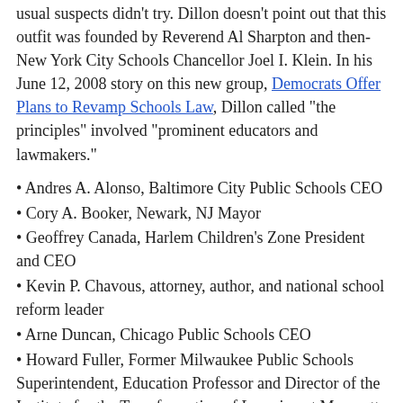usual suspects didn't try. Dillon doesn't point out that this outfit was founded by Reverend Al Sharpton and then-New York City Schools Chancellor Joel I. Klein. In his June 12, 2008 story on this new group, Democrats Offer Plans to Revamp Schools Law, Dillon called "the principles" involved "prominent educators and lawmakers."
Andres A. Alonso, Baltimore City Public Schools CEO
Cory A. Booker, Newark, NJ Mayor
Geoffrey Canada, Harlem Children's Zone President and CEO
Kevin P. Chavous, attorney, author, and national school reform leader
Arne Duncan, Chicago Public Schools CEO
Howard Fuller, Former Milwaukee Public Schools Superintendent, Education Professor and Director of the Institute for the Transformation of Learning at Marquette University
Peter Groff, Colorado Senate President
Kati Haycock, The Education Trust President
Joel I. Klein, New York City Schools Chancellor